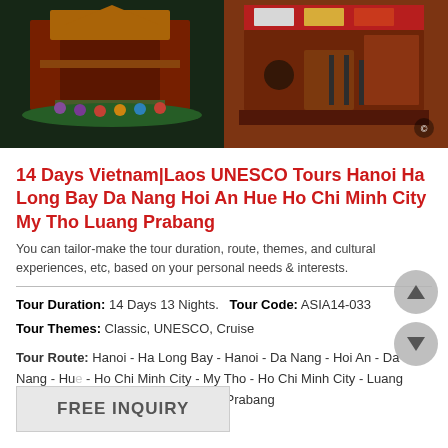[Figure (photo): Two side-by-side photos: left shows a water puppet theatre performance at night with colorful traditional Vietnamese stage and performers in water; right shows a traditional Vietnamese puppet theatre interior with performers and stage set.]
14 Days Vietnam|Laos UNESCO Tours Hanoi Ha Long Bay Da Nang Hoi An Hue Ho Chi Minh City My Tho Luang Prabang
You can tailor-make the tour duration, route, themes, and cultural experiences, etc, based on your personal needs & interests.
Tour Duration: 14 Days 13 Nights.   Tour Code: ASIA14-033
Tour Themes: Classic, UNESCO, Cruise
Tour Route: Hanoi - Ha Long Bay - Hanoi - Da Nang - Hoi An - Da Nang - Hue - Ho Chi Minh City - My Tho - Ho Chi Minh City - Luang Prabang - Ho Chi Minh City - Luang Prabang
FREE INQUIRY